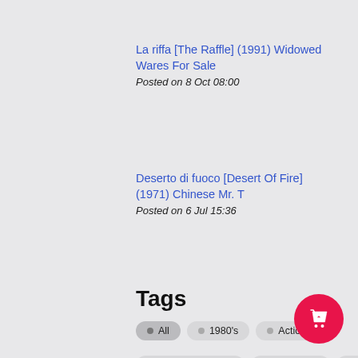La riffa [The Raffle] (1991) Widowed Wares For Sale
Posted on 8 Oct 08:00
Deserto di fuoco [Desert Of Fire] (1971) Chinese Mr. T
Posted on 6 Jul 15:36
Tags
All
1980's
Action
Actress Spotlight
Adventure
Anime
Caroline Munro
Christa Linder
Comedy
Drama
Edwige Fenech
Elke Sommer
Fantasy
Femi Benussi
Germany
Giallo
Hammer Films
Hammer Glamour
Helga Line
Horror
Italy